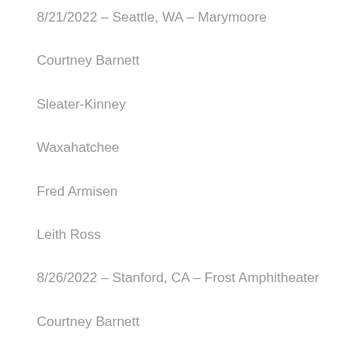8/21/2022 – Seattle, WA – Marymoore
Courtney Barnett
Sleater-Kinney
Waxahatchee
Fred Armisen
Leith Ross
8/26/2022 – Stanford, CA – Frost Amphitheater
Courtney Barnett
Japanese Breakfast
Chicano Batman
Julia Jacklin